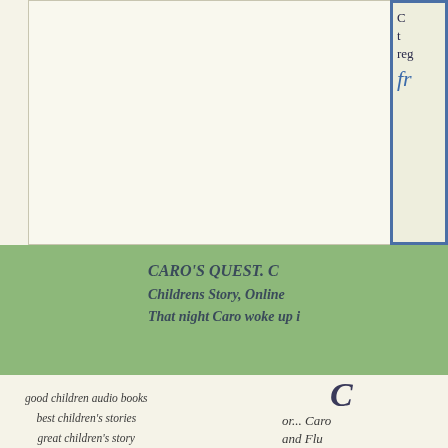[Figure (other): Top cream/white box area with a blue-bordered box in the top-right corner containing partial text 'C', 'reg', and cursive 'fr']
CARO'S QUEST. C
Childrens Story, Online
That night Caro woke up i
good children audio books
best children's stories
great children's story
C
or... Caro
and Flu
WRITER RE